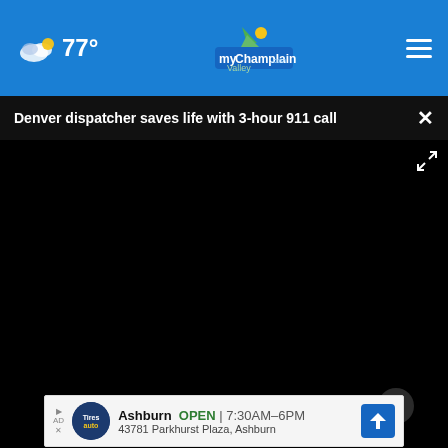77° myChamplainValley.com
Denver dispatcher saves life with 3-hour 911 call
[Figure (screenshot): Video player showing a dark/black video frame with playback controls at the bottom including play button, mute button, timestamp 00:00, subtitles icon, and fullscreen icon. A progress bar with a white circle scrubber sits above the controls.]
[Figure (photo): Partial photo visible below the video player showing a hand near a dark circular object on a light surface.]
Ashburn  OPEN | 7:30AM–6PM
43781 Parkhurst Plaza, Ashburn